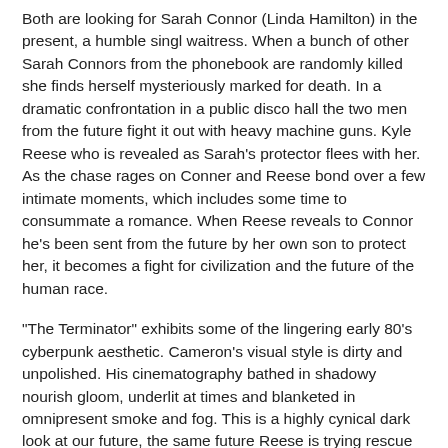Both are looking for Sarah Connor (Linda Hamilton) in the present, a humble singl waitress. When a bunch of other Sarah Connors from the phonebook are randomly killed she finds herself mysteriously marked for death. In a dramatic confrontation in a public disco hall the two men from the future fight it out with heavy machine guns. Kyle Reese who is revealed as Sarah's protector flees with her. As the chase rages on Conner and Reese bond over a few intimate moments, which includes some time to consummate a romance. When Reese reveals to Connor he's been sent from the future by her own son to protect her, it becomes a fight for civilization and the future of the human race.
"The Terminator" exhibits some of the lingering early 80's cyberpunk aesthetic. Cameron's visual style is dirty and unpolished. His cinematography bathed in shadowy nourish gloom, underlit at times and blanketed in omnipresent smoke and fog. This is a highly cynical dark look at our future, the same future Reese is trying rescue from ourselves.
Cameron does everything he can to connect his apocalyptic